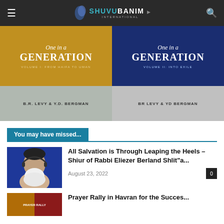SHUVU BANIM International
[Figure (illustration): Two book covers for 'One in a Generation' — Volume I: From Haifa to Uman (gold/yellow background, B.R. Levy & Y.D. Bergman) and Volume II: Into Exile (dark blue background, BR Levy & YD Bergman)]
You may have missed...
[Figure (photo): Photo of an elderly rabbi with a white beard, wearing headphones, against a blue background]
All Salvation is Through Leaping the Heels – Shiur of Rabbi Eliezer Berland Shlit"a...
August 23, 2022
[Figure (photo): Partial thumbnail of an article image with red/gold background and text]
Prayer Rally in Havran for the Succes...